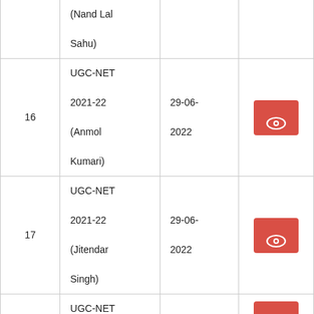| # | Name | Date | Action |
| --- | --- | --- | --- |
|  | (Nand Lal Sahu) |  |  |
| 16 | UGC-NET 2021-22 (Anmol Kumari) | 29-06-2022 | [view] |
| 17 | UGC-NET 2021-22 (Jitendar Singh) | 29-06-2022 | [view] |
| 18 | UGC-NET | 29-06- | [view] |